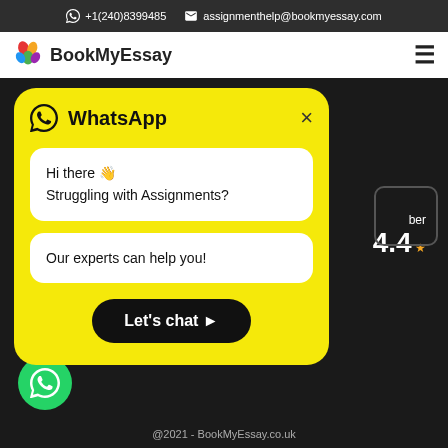+1(240)8399485   assignmenthelp@bookmyessay.com
[Figure (logo): BookMyEssay logo with colorful circular swirl icon and brand name]
[Figure (screenshot): WhatsApp chat popup card on yellow background with header, message boxes, and Let's chat button. Background shows dark website with rating 4.4, Google Play button, and green WhatsApp FAB.]
Hi there 👋
Struggling with Assignments?
Our experts can help you!
Let's chat ➤
ber 4.4 ★
Google Play
@2021 - BookMyEssay.co.uk